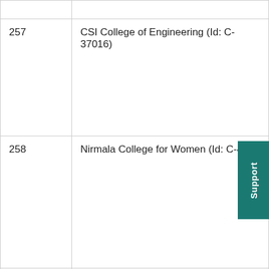| # | Institution |
| --- | --- |
| 257 | CSI College of Engineering (Id: C-37016) |
| 258 | Nirmala College for Women (Id: C-4106…) |
| 259 | Latha Mathavan Engineering College, Madu… |